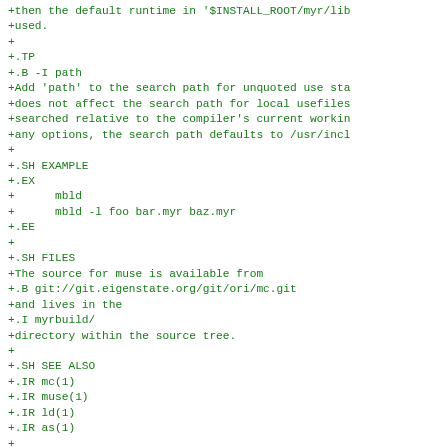+then the default runtime in '$INSTALL_ROOT/myr/lib
+used.
+
+.TP
+.B -I path
+Add 'path' to the search path for unquoted use sta
+does not affect the search path for local usefiles
+searched relative to the compiler's current workin
+any options, the search path defaults to /usr/incl
+
+.SH EXAMPLE
+.EX
+      mbld
+      mbld -l foo bar.myr baz.myr
+.EE
+
+.SH FILES
+The source for muse is available from
+.B git://git.eigenstate.org/git/ori/mc.git
+and lives in the
+.I myrbuild/
+directory within the source tree.
+
+.SH SEE ALSO
+.IR mc(1)
+.IR muse(1)
+.IR ld(1)
+.IR as(1)
+
+.SH BUGS